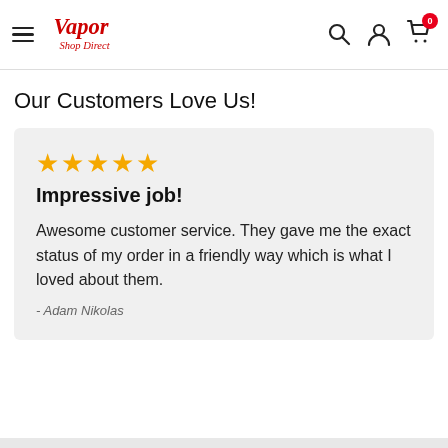Vapor Shop Direct — navigation header with hamburger menu, logo, search, account, and cart icons
Our Customers Love Us!
★★★★★
Impressive job!
Awesome customer service. They gave me the exact status of my order in a friendly way which is what I loved about them.
- Adam Nikolas